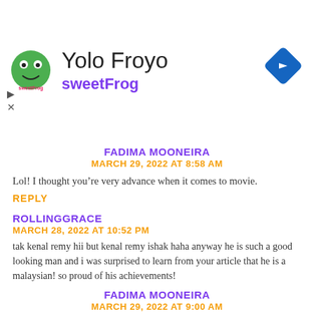[Figure (screenshot): Advertisement banner for Yolo Froyo / sweetFrog with logo, navigation diamond icon, and collapse controls]
FADIMA MOONEIRA
MARCH 29, 2022 AT 8:58 AM
Lol! I thought you’re very advance when it comes to movie.
REPLY
ROLLINGGRACE
MARCH 28, 2022 AT 10:52 PM
tak kenal remy hii but kenal remy ishak haha anyway he is such a good looking man and i was surprised to learn from your article that he is a malaysian! so proud of his achievements!
FADIMA MOONEIRA
MARCH 29, 2022 AT 9:00 AM